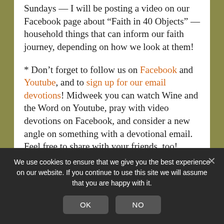Sundays — I will be posting a video on our Facebook page about “Faith in 40 Objects” — household things that can inform our faith journey, depending on how we look at them!
* Don’t forget to follow us on Facebook and Youtube, and to sign up for our email devotions! Midweek you can watch Wine and the Word on Youtube, pray with video devotions on Facebook, and consider a new angle on something with a devotional email. Feel free to share with your friends, too!
* Evening Prayer with Connect will be led by David this evening. Join us on the Connect
We use cookies to ensure that we give you the best experience on our website. If you continue to use this site we will assume that you are happy with it.